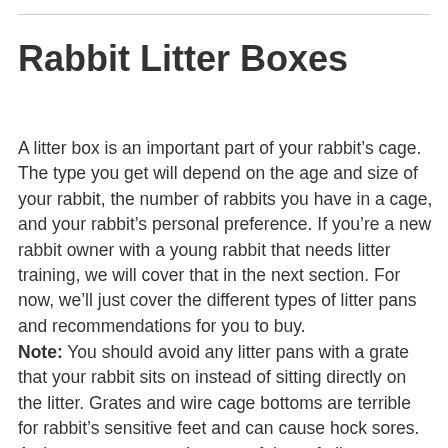Rabbit Litter Boxes
A litter box is an important part of your rabbit’s cage. The type you get will depend on the age and size of your rabbit, the number of rabbits you have in a cage, and your rabbit’s personal preference. If you’re a new rabbit owner with a young rabbit that needs litter training, we will cover that in the next section. For now, we’ll just cover the different types of litter pans and recommendations for you to buy.
Note: You should avoid any litter pans with a grate that your rabbit sits on instead of sitting directly on the litter. Grates and wire cage bottoms are terrible for rabbit’s sensitive feet and can cause hock sores. As long as you are using one of the safe litters we